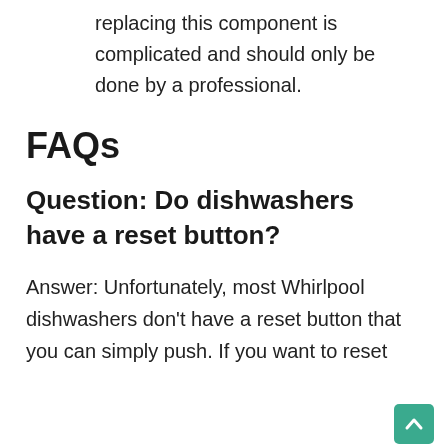replacing this component is complicated and should only be done by a professional.
FAQs
Question: Do dishwashers have a reset button?
Answer: Unfortunately, most Whirlpool dishwashers don't have a reset button that you can simply push. If you want to reset